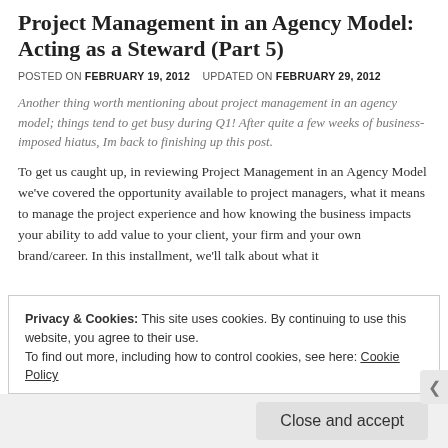Project Management in an Agency Model: Acting as a Steward (Part 5)
POSTED ON FEBRUARY 19, 2012   UPDATED ON FEBRUARY 29, 2012
Another thing worth mentioning about project management in an agency model; things tend to get busy during Q1!  After quite a few weeks of business-imposed hiatus, Im back to finishing up this post.
To get us caught up, in reviewing Project Management in an Agency Model we've covered the opportunity available to project managers, what it means to manage the project experience and how knowing the business impacts your ability to add value to your client, your firm and your own brand/career.  In this installment, we'll talk about what it
Privacy & Cookies: This site uses cookies. By continuing to use this website, you agree to their use.
To find out more, including how to control cookies, see here: Cookie Policy
Close and accept